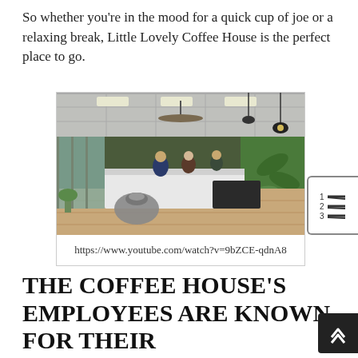So whether you're in the mood for a quick cup of joe or a relaxing break, Little Lovely Coffee House is the perfect place to go.
[Figure (photo): Interior of Little Lovely Coffee House showing the counter area, green accent walls with plant murals, hanging pendant lights, ceiling fans, and customers at the bar.]
https://www.youtube.com/watch?v=9bZCE-qdnA8
THE COFFEE HOUSE'S EMPLOYEES ARE KNOWN FOR THEIR FRIENDLINESS AND WILLINGNESS TO HELP